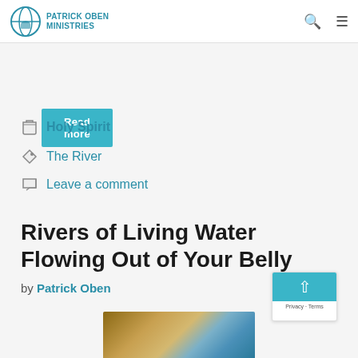PATRICK OBEN MINISTRIES
Read more
Holy Spirit
The River
Leave a comment
Rivers of Living Water Flowing Out of Your Belly
by Patrick Oben
[Figure (photo): Waterfall image preview at bottom of page]